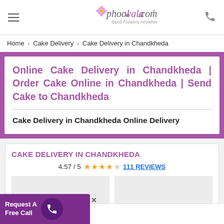phoolwala.com – Send Flowers Anywhere
Home › Cake Delivery › Cake Delivery in Chandkheda
Online Cake Delivery in Chandkheda | Order Cake Online in Chandkheda | Send Cake to Chandkheda
Cake Delivery in Chandkheda Online Delivery
CAKE DELIVERY IN CHANDKHEDA
4.57 / 5  ★★★★☆  111 REVIEWS
Request A Free Call